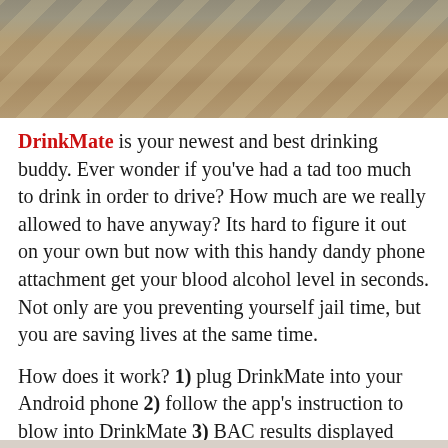[Figure (photo): Close-up photo of wooden blocks (Jenga-style) arranged at angles, with a blurred blue background]
DrinkMate is your newest and best drinking buddy. Ever wonder if you've had a tad too much to drink in order to drive? How much are we really allowed to have anyway? Its hard to figure it out on your own but now with this handy dandy phone attachment get your blood alcohol level in seconds. Not only are you preventing yourself jail time, but you are saving lives at the same time.
How does it work? 1) plug DrinkMate into your Android phone 2) follow the app's instruction to blow into DrinkMate 3) BAC results displayed instantly! The more you know.